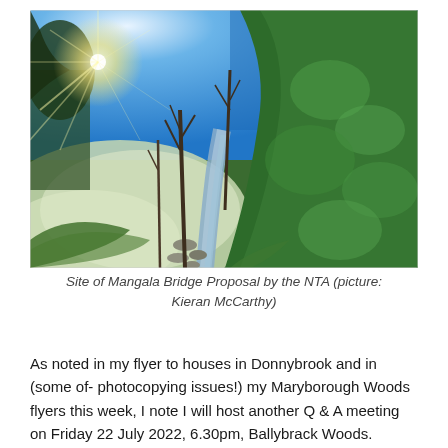[Figure (photo): Outdoor nature photo showing a narrow stream or creek running through a wooded area. On the left is an open grassy field covered with frost. Tall bare trees line the stream. On the right are lush green ivy-covered slopes and dense bushes. The sun shines brightly through the branches on the upper left, creating a starburst effect. The sky is clear blue.]
Site of Mangala Bridge Proposal by the NTA (picture: Kieran McCarthy)
As noted in my flyer to houses in Donnybrook and in (some of- photocopying issues!) my Maryborough Woods flyers this week, I note I will host another Q & A meeting on Friday 22 July 2022, 6.30pm, Ballybrack Woods.